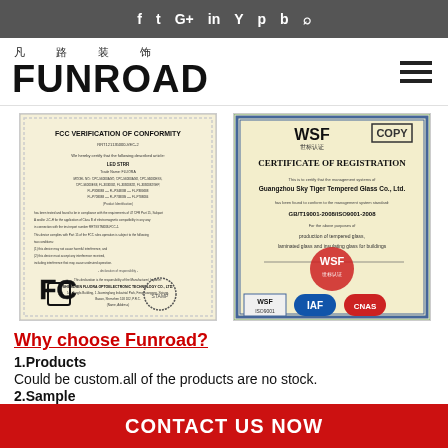Social media icons bar (Facebook, Twitter, Google+, LinkedIn, YouTube, Pinterest, Blogger, Search)
凡 路 装 饰 FUNROAD
[Figure (photo): FCC Verification of Conformity certificate document with FCC logo and official stamps]
[Figure (photo): WSF Certificate of Registration (COPY) for Guangzhou Sky Tiger Tempered Glass Co., Ltd. with WSF ISO9001, IAF, and other certification logos]
Why choose Funroad?
1.Products
Could be custom.all of the products are no stock.
2.Sample
CONTACT US NOW